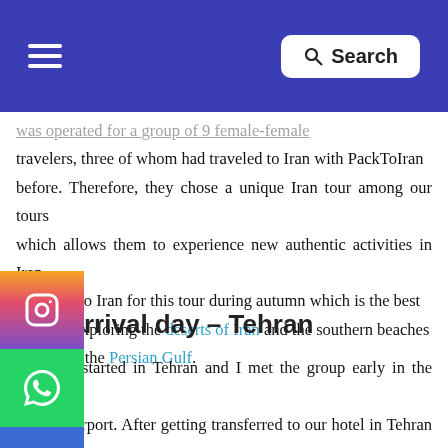Search
was operated for a group of 9 female-female travelers, three of whom had traveled to Iran with PackToIran before. Therefore, they chose a unique Iran tour among our tours which allows them to experience new authentic activities in Iran d packed to Iran for this tour during autumn which is the best ason for exploring the deserts of Iran and the southern beaches eching by the Persian Gulf.
rrival day – Tehran
Our tour started in Tehran and I met the group early in the morning at IKA Airport. After getting transferred to our hotel in Tehran by the group's private van, hotel check-in, and taking a short rest at hotel rooms we met again at the lobby and started our adventure in Tehran, the city of museums and art galleries. We visited the two